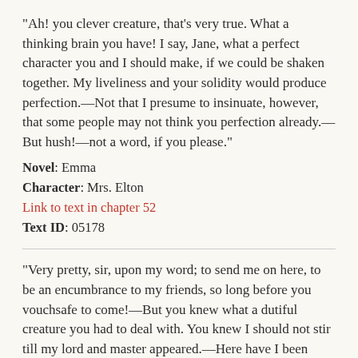"Ah! you clever creature, that's very true. What a thinking brain you have! I say, Jane, what a perfect character you and I should make, if we could be shaken together. My liveliness and your solidity would produce perfection.—Not that I presume to insinuate, however, that some people may not think you perfection already.—But hush!—not a word, if you please."
Novel: Emma
Character: Mrs. Elton
Link to text in chapter 52
Text ID: 05178
"Very pretty, sir, upon my word; to send me on here, to be an encumbrance to my friends, so long before you vouchsafe to come!—But you knew what a dutiful creature you had to deal with. You knew I should not stir till my lord and master appeared.—Here have I been sitting this hour, giving these young ladies a sample of true conjugal obedience—for who can say, you know, how soon it may be wanted?"
Novel: Emma
Character: Mrs. Elton